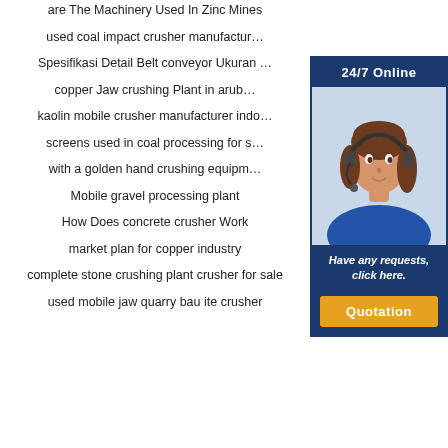are The Machinery Used In Zinc Mines
used coal impact crusher manufactur…
Spesifikasi Detail Belt conveyor Ukuran …
copper Jaw crushing Plant in arub…
kaolin mobile crusher manufacturer indo…
screens used in coal processing for s…
with a golden hand crushing equipm…
Mobile gravel processing plant
How Does concrete crusher Work
market plan for copper industry
complete stone crushing plant crusher for sale
used mobile jaw quarry bau ite crusher
[Figure (photo): Customer service widget with a woman wearing headset, blue background, '24/7 Online' header, 'Have any requests, click here.' text, and an orange 'Quotation' button.]